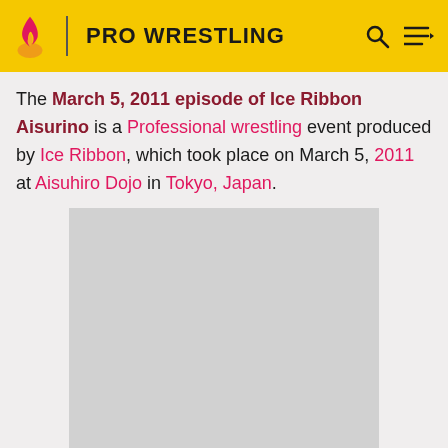PRO WRESTLING
The March 5, 2011 episode of Ice Ribbon Aisurino is a Professional wrestling event produced by Ice Ribbon, which took place on March 5, 2011 at Aisuhiro Dojo in Tokyo, Japan.
[Figure (photo): A placeholder grey image box representing an event photo]